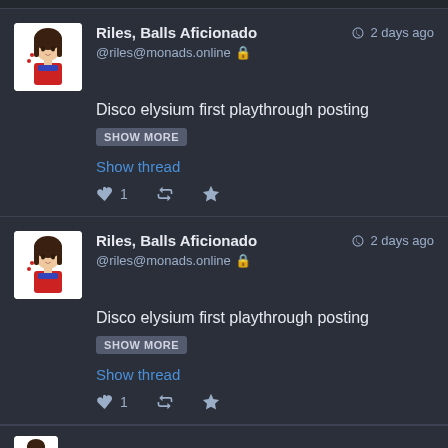[Figure (screenshot): Social media feed showing two identical posts by 'Riles, Balls Aficionado' (@riles@monads.online) from 2 days ago, each with text 'Disco elysium first playthrough posting', a SHOW MORE button, Show thread link, and action icons (reply 1, retweet, star).]